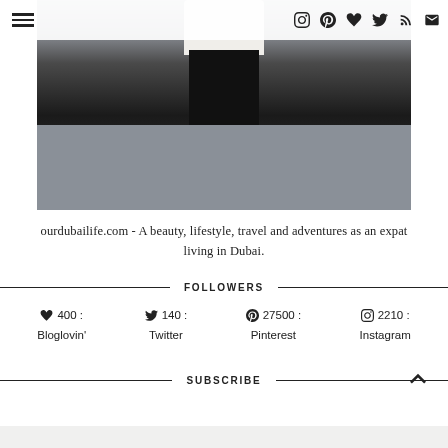[Figure (photo): Blog header photo showing a person from the waist down wearing dark pants and carrying a white bag, standing on stone tile pavement. Social media icons and hamburger menu visible in a top navigation bar.]
ourdubailife.com - A beauty, lifestyle, travel and adventures as an expat living in Dubai.
FOLLOWERS
♥ 400 : Bloglovin'
🐦 140 : Twitter
⊕ 27500 : Pinterest
◎ 2210 : Instagram
SUBSCRIBE